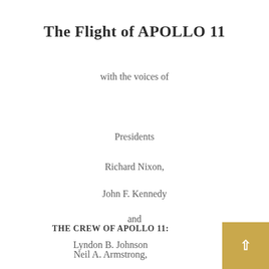The Flight of APOLLO 11
with the voices of
Presidents
Richard Nixon,
John F. Kennedy
and
Lyndon B. Johnson
THE CREW OF APOLLO 11:
Neil A. Armstrong,